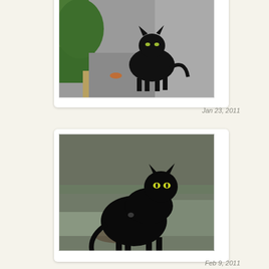[Figure (photo): Black cat standing on pavement/concrete near green shrubs and dried grass, looking toward camera]
Jan 23, 2011
[Figure (photo): Black cat with glowing eyes standing on frost-covered grass, looking back toward camera with arched posture]
Feb 9, 2011
[Figure (photo): Partially visible photo of green grass/weeds, likely another cat photo cropped at bottom]